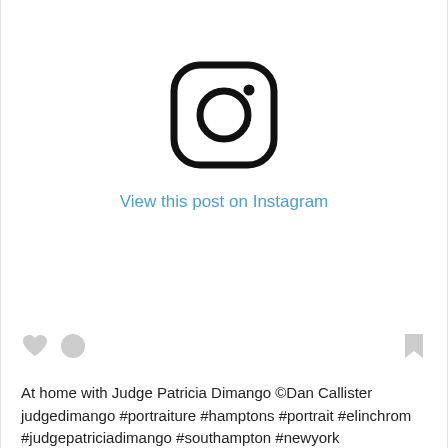[Figure (logo): Instagram logo icon — rounded square outline with circle and dot inside]
View this post on Instagram
At home with Judge Patricia Dimango ©Dan Callister judgedimango #portraiture #hamptons #portrait #elinchrom #judgepatriciadimango #southampton #newyork #onassignment #photoshelter #elinchrom_ltd